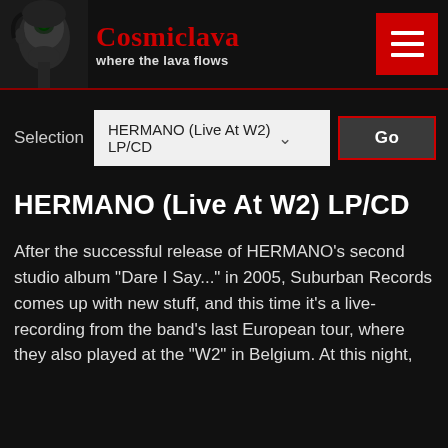Cosmiclava where the lava flows
Selection HERMANO (Live At W2) LP/CD Go
HERMANO (Live At W2) LP/CD
After the successful release of HERMANO's second studio album "Dare I Say..." in 2005, Suburban Records comes up with new stuff, and this time it's a live-recording from the band's last European tour, where they also played at the "W2" in Belgium. At this night,